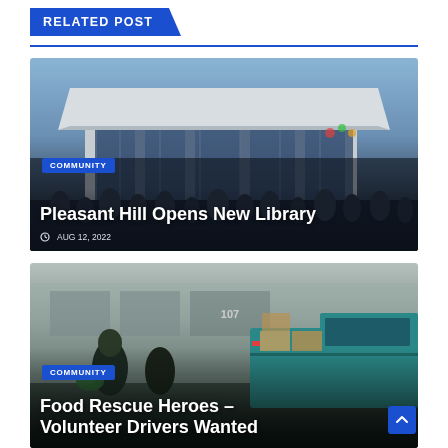RELATED POST
[Figure (photo): Crowd gathering outside a modern library building with a wide canopy roof and large glass facade. People stand in the plaza area.]
Pleasant Hill Opens New Library
COMMUNITY  •  AUG 12, 2022
[Figure (photo): Street scene showing a pickup truck and people handling food boxes outside a building with address 107, related to a food rescue volunteer program.]
Food Rescue Heroes – Volunteer Drivers Wanted